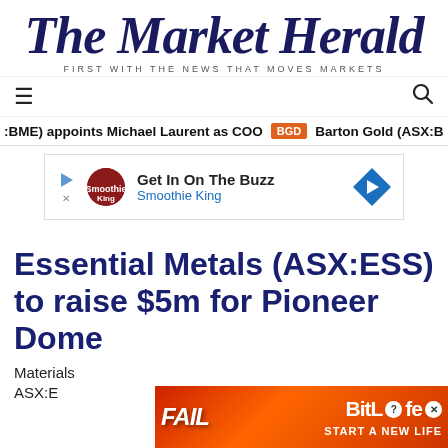[Figure (logo): The Market Herald logo with tagline 'FIRST WITH THE NEWS THAT MOVES MARKETS']
☰
🔍
:BME) appoints Michael Laurent as COO  BGD  Barton Gold (ASX:B
[Figure (infographic): Advertisement banner: Get In On The Buzz - Smoothie King]
Essential Metals (ASX:ESS) to raise $5m for Pioneer Dome
Materials
ASX:E
[Figure (infographic): BitLife advertisement: FAIL - START A NEW LIFE]